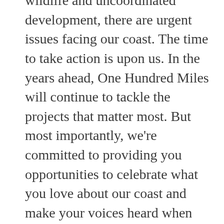wildlife and uncoordinated development, there are urgent issues facing our coast. The time to take action is upon us. In the years ahead, One Hundred Miles will continue to tackle the projects that matter most. But most importantly, we're committed to providing you opportunities to celebrate what you love about our coast and make your voices heard when our landscapes, wildlife, and communities are threatened.
Read our 2019-2023 Strategic Plan and 2021 Annual Report to learn more about the next phase of